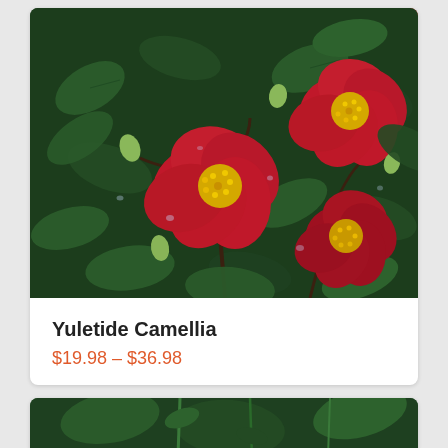[Figure (photo): Close-up photograph of Yuletide Camellia flowers: bright red blooms with yellow stamens surrounded by dark green glossy leaves, with water droplets visible]
Yuletide Camellia
$19.98 – $36.98
[Figure (photo): Partial view of another plant product card at the bottom of the page]